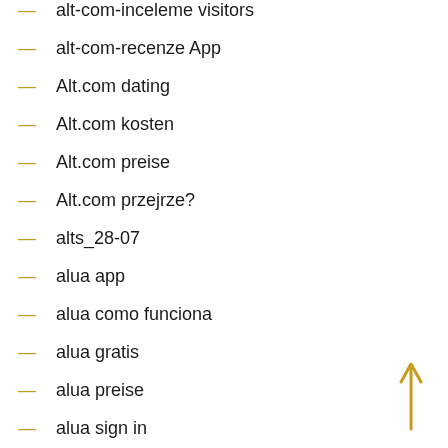alt-com-inceleme visitors
alt-com-recenze App
Alt.com dating
Alt.com kosten
Alt.com preise
Alt.com przejrze?
alts_28-07
alua app
alua como funciona
alua gratis
alua preise
alua sign in